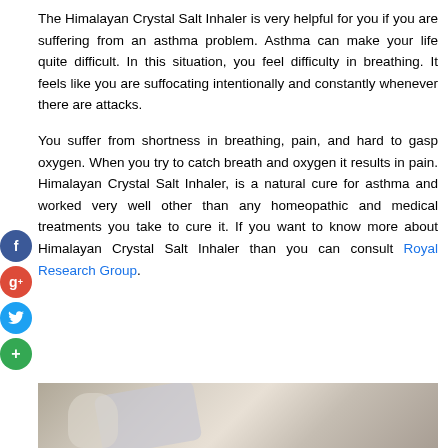The Himalayan Crystal Salt Inhaler is very helpful for you if you are suffering from an asthma problem. Asthma can make your life quite difficult. In this situation, you feel difficulty in breathing. It feels like you are suffocating intentionally and constantly whenever there are attacks.
You suffer from shortness in breathing, pain, and hard to gasp oxygen. When you try to catch breath and oxygen it results in pain. Himalayan Crystal Salt Inhaler, is a natural cure for asthma and worked very well other than any homeopathic and medical treatments you take to cure it. If you want to know more about Himalayan Crystal Salt Inhaler than you can consult Royal Research Group.
[Figure (photo): Photo of a Himalayan Crystal Salt Inhaler device, showing a plastic inhaler with pink/crystal salt visible inside, on a light beige background.]